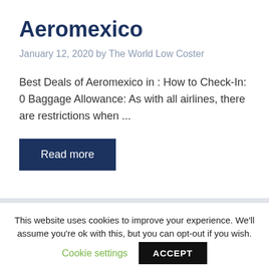Aeromexico
January 12, 2020 by The World Low Coster
Best Deals of Aeromexico in : How to Check-In: 0 Baggage Allowance: As with all airlines, there are restrictions when ...
Read more
This website uses cookies to improve your experience. We'll assume you're ok with this, but you can opt-out if you wish.
Cookie settings
ACCEPT